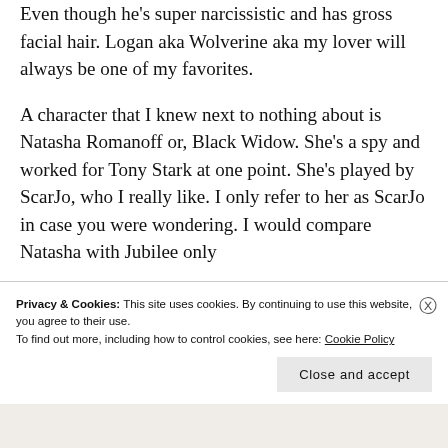Even though he's super narcissistic and has gross facial hair. Logan aka Wolverine aka my lover will always be one of my favorites.
A character that I knew next to nothing about is Natasha Romanoff or, Black Widow. She's a spy and worked for Tony Stark at one point. She's played by ScarJo, who I really like. I only refer to her as ScarJo in case you were wondering. I would compare Natasha with Jubilee only
Privacy & Cookies: This site uses cookies. By continuing to use this website, you agree to their use.
To find out more, including how to control cookies, see here: Cookie Policy
Close and accept